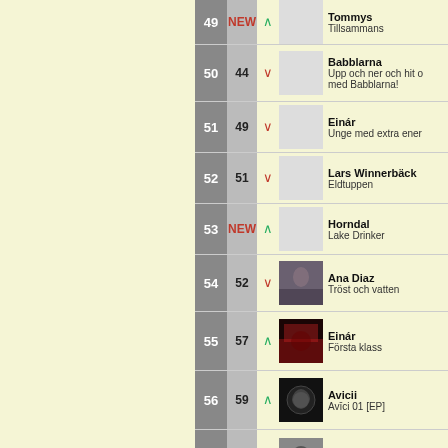49 NEW ↑ Tommys Tillsammans
50 44 ↓ Babblarna Upp och ner och hit och med Babblarna!
51 49 ↓ Einár Unge med extra energi
52 51 ↓ Lars Winnerbäck Eldtuppen
53 NEW ↑ Horndal Lake Drinker
54 52 ↓ Ana Diaz Tröst och vatten
55 57 ↑ Einár Första klass
56 59 ↑ Avicii Avīci 01 [EP]
57 54 ↓ Avicii Tim